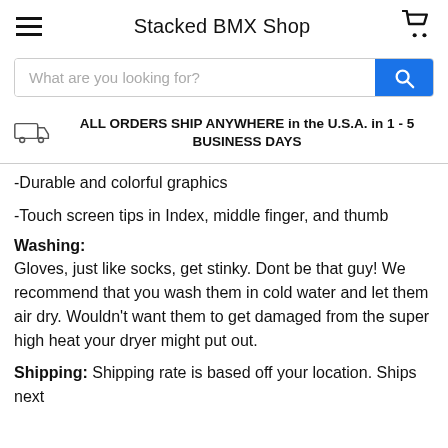Stacked BMX Shop
What are you looking for?
ALL ORDERS SHIP ANYWHERE in the U.S.A. in 1 - 5 BUSINESS DAYS
-Durable and colorful graphics
-Touch screen tips in Index, middle finger, and thumb
Washing:
Gloves, just like socks, get stinky. Dont be that guy! We recommend that you wash them in cold water and let them air dry. Wouldn't want them to get damaged from the super high heat your dryer might put out.
Shipping: Shipping rate is based off your location. Ships next